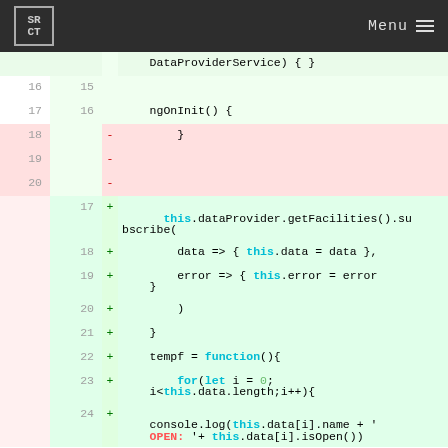SRCT | Menu
[Figure (screenshot): Code diff view showing TypeScript/Angular component code. Lines 16-20 on the left (old), lines 15-24 on the right (new). Removed lines (pink): closing brace of ngOnInit, blank lines. Added lines (green): this.dataProvider.getFacilities().subscribe( data => { this.data = data }, error => { this.error = error } ), ), }, tempf = function(){, for(let i = 0; i<this.data.length;i++){, console.log(this.data[i].name + 'OPEN: '+ this.data[i].isOpen())]